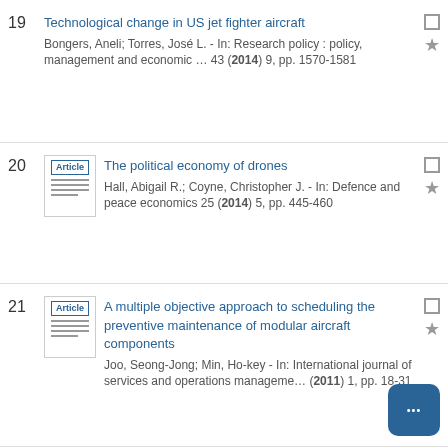19 Technological change in US jet fighter aircraft
Bongers, Aneli; Torres, José L. - In: Research policy : policy, management and economic … 43 (2014) 9, pp. 1570-1581
20 The political economy of drones
Hall, Abigail R.; Coyne, Christopher J. - In: Defence and peace economics 25 (2014) 5, pp. 445-460
21 A multiple objective approach to scheduling the preventive maintenance of modular aircraft components
Joo, Seong-Jong; Min, Ho-key - In: International journal of services and operations management (2011) 1, pp. 18-31